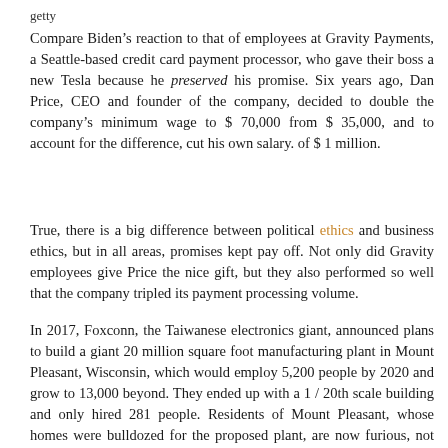getty
Compare Biden’s reaction to that of employees at Gravity Payments, a Seattle-based credit card payment processor, who gave their boss a new Tesla because he preserved his promise. Six years ago, Dan Price, CEO and founder of the company, decided to double the company’s minimum wage to $ 70,000 from $ 35,000, and to account for the difference, cut his own salary. of $ 1 million.
True, there is a big difference between political ethics and business ethics, but in all areas, promises kept pay off. Not only did Gravity employees give Price the nice gift, but they also performed so well that the company tripled its payment processing volume.
In 2017, Foxconn, the Taiwanese electronics giant, announced plans to build a giant 20 million square foot manufacturing plant in Mount Pleasant, Wisconsin, which would employ 5,200 people by 2020 and grow to 13,000 beyond. They ended up with a 1 / 20th scale building and only hired 281 people. Residents of Mount Pleasant, whose homes were bulldozed for the proposed plant, are now furious, not only with Foxconn, but also with local government officials and former Gov. Scott Walker